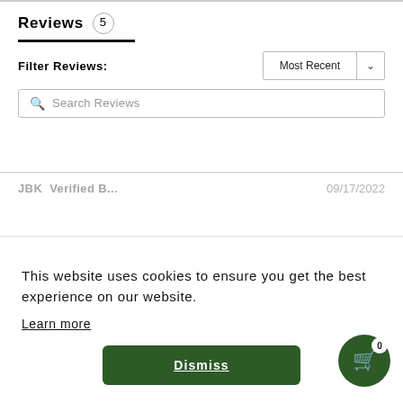Reviews 5
Filter Reviews:
Most Recent
Search Reviews
JBK  Verified B...  09/17/2022
This website uses cookies to ensure you get the best experience on our website.
Learn more
Dismiss